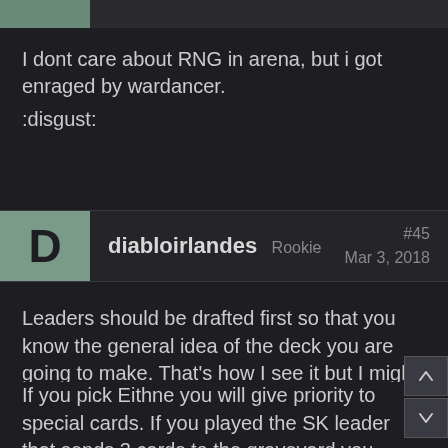[Figure (screenshot): Top bar with partial avatar image thumbnail]
I dont care about RNG in arena, but i got enraged by wardancer.
:disgust:
diabloirlandes  Rookie  #45  Mar 3, 2018
Leaders should be drafted first so that you know the general idea of the deck you are going to make. That's how I see it but I might be wrong.
If you pick Eithne you will give priority to special cards. If you played the SK leader that sends 3 cards to the graveyard you will give priority to resurrection cards.